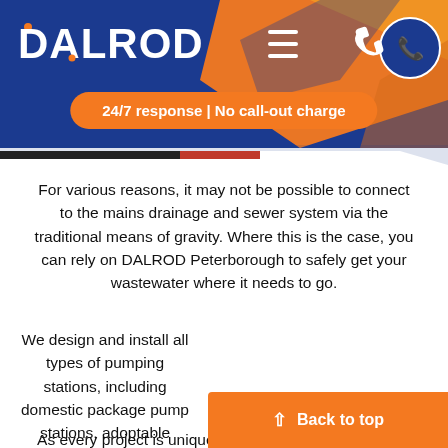[Figure (logo): DALROD logo in white text on dark blue header background with orange geometric shapes]
24/7 response | No call-out charge
For various reasons, it may not be possible to connect to the mains drainage and sewer system via the traditional means of gravity. Where this is the case, you can rely on DALROD Peterborough to safely get your wastewater where it needs to go.
We design and install all types of pumping stations, including domestic package pump stations, adoptable sewage pump stations, stormwater pumps, flood pumps and basement/cellar
As every project is unique, we work closely with you to